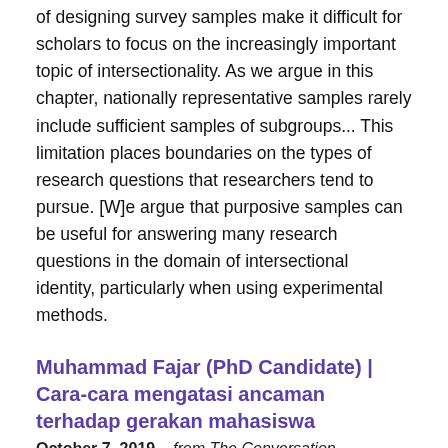of designing survey samples make it difficult for scholars to focus on the increasingly important topic of intersectionality. As we argue in this chapter, nationally representative samples rarely include sufficient samples of subgroups... This limitation places boundaries on the types of research questions that researchers tend to pursue. [W]e argue that purposive samples can be useful for answering many research questions in the domain of intersectional identity, particularly when using experimental methods.
Muhammad Fajar (PhD Candidate) | Cara-cara mengatasi ancaman terhadap gerakan mahasiswa
October 7, 2019 – from The Conversation
Read graduate student Muhammad Fajar's new article about how to overcome threats to student movement.